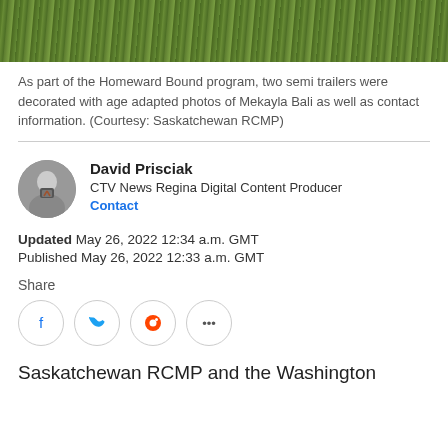[Figure (photo): Grass field photo — top portion of a semi trailer decoration image]
As part of the Homeward Bound program, two semi trailers were decorated with age adapted photos of Mekayla Bali as well as contact information. (Courtesy: Saskatchewan RCMP)
David Prisciak
CTV News Regina Digital Content Producer
Contact
Updated May 26, 2022 12:34 a.m. GMT
Published May 26, 2022 12:33 a.m. GMT
Share
Saskatchewan RCMP and the Washington